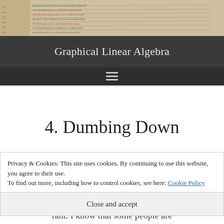[Figure (illustration): Decorative header image showing an ancient manuscript with handwritten text and orange/red annotations, on a parchment background.]
Graphical Linear Algebra
[Figure (other): Hamburger menu navigation icon (three horizontal lines) on a dark background.]
4. Dumbing Down
Privacy & Cookies: This site uses cookies. By continuing to use this website, you agree to their use.
To find out more, including how to control cookies, see here: Cookie Policy
Close and accept
rant. I know that some people are